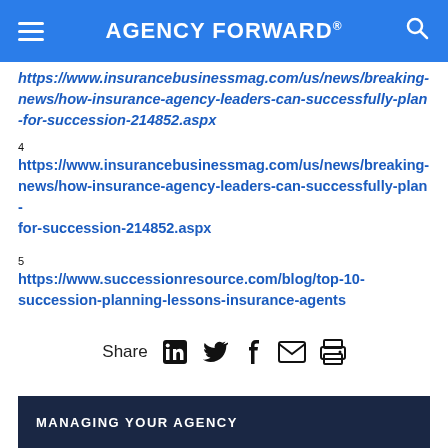AGENCY FORWARD®
4 https://www.insurancebusinessmag.com/us/news/breaking-news/how-insurance-agency-leaders-can-successfully-plan-for-succession-214852.aspx
5 https://www.successionresource.com/blog/top-10-succession-planning-lessons-insurance-agents
Share
Related articles
MANAGING YOUR AGENCY